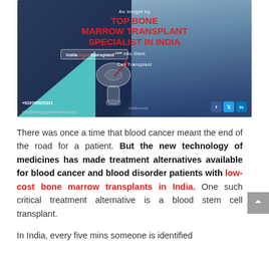[Figure (infographic): Medical infographic banner for India Organ Transplant website about bone marrow transplant specialist in India. Dark blue background with teal triangle, image of surgeon in mask, hip bone diagram, red and white text, social media icons, phone +919765025331, email info@indiaorgantransplant.com]
There was once a time that blood cancer meant the end of the road for a patient. But the new technology of medicines has made treatment alternatives available for blood cancer and blood disorder patients with low-cost bone marrow transplants in India. One such critical treatment alternative is a blood stem cell transplant.
In India, every five mins someone is identified